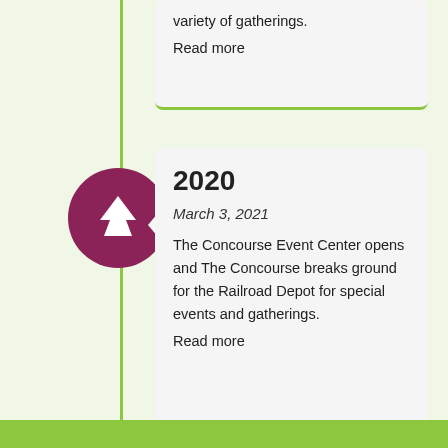variety of gatherings.
Read more
2020
March 3, 2021
The Concourse Event Center opens and The Concourse breaks ground for the Railroad Depot for special events and gatherings.
Read more